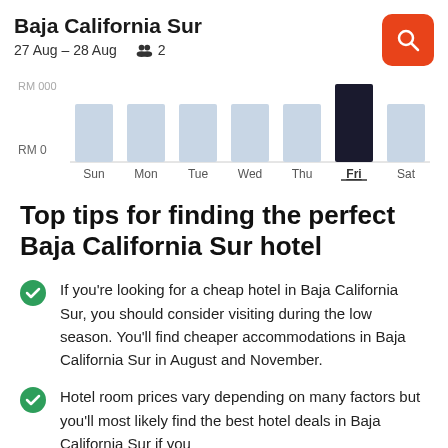Baja California Sur
27 Aug – 28 Aug  2
[Figure (bar-chart): Price by day of week]
Top tips for finding the perfect Baja California Sur hotel
If you're looking for a cheap hotel in Baja California Sur, you should consider visiting during the low season. You'll find cheaper accommodations in Baja California Sur in August and November.
Hotel room prices vary depending on many factors but you'll most likely find the best hotel deals in Baja California Sur if you